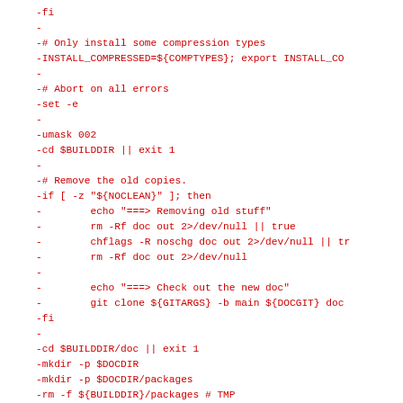-fi
-
-# Only install some compression types
-INSTALL_COMPRESSED=${COMPTYPES}; export INSTALL_CO
-
-# Abort on all errors
-set -e
-
-umask 002
-cd $BUILDDIR || exit 1
-
-# Remove the old copies.
-if [ -z "${NOCLEAN}" ]; then
-        echo "===> Removing old stuff"
-        rm -Rf doc out 2>/dev/null || true
-        chflags -R noschg doc out 2>/dev/null || tr
-        rm -Rf doc out 2>/dev/null
-
-        echo "===> Check out the new doc"
-        git clone ${GITARGS} -b main ${DOCGIT} doc
-fi
-
-cd $BUILDDIR/doc || exit 1
-mkdir -p $DOCDIR
-mkdir -p $DOCDIR/packages
-rm -f ${BUILDDIR}/packages # TMP
-ln -s ${DOCDIR}/packages ${BUILDDIR}/doc/packages
-
-if [ -d ${PATCHDIR} -a -n "$(find ${PATCHDIR} -nam
-        echo "===> Patching bugs in doc tree"